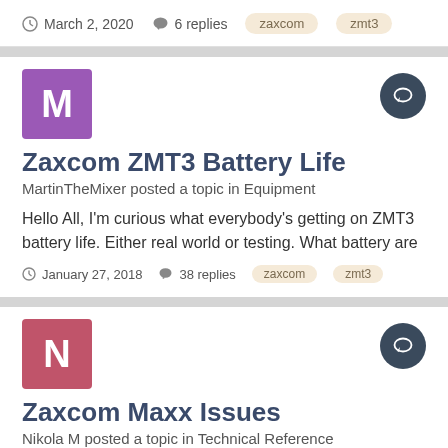March 2, 2020  6 replies  zaxcom  zmt3
[Figure (illustration): Purple square avatar with letter M]
Zaxcom ZMT3 Battery Life
MartinTheMixer posted a topic in Equipment
Hello All, I'm curious what everybody's getting on ZMT3 battery life. Either real world or testing. What battery are
January 27, 2018  38 replies  zaxcom  zmt3
[Figure (illustration): Pink square avatar with letter N]
Zaxcom Maxx Issues
Nikola M posted a topic in Technical Reference